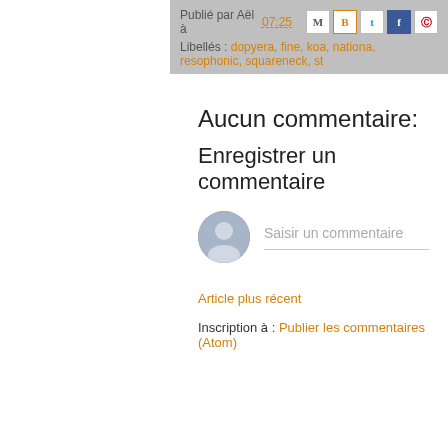Publié par Aël à 07:25  [icons: M B t f p]
Libellés : dopyera, fine, koa, nationa, resophonic, squareneck, st
Aucun commentaire:
Enregistrer un commentaire
Saisir un commentaire
Article plus récent
Inscription à : Publier les commentaires (Atom)